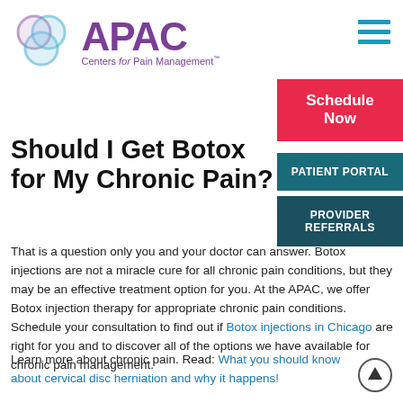[Figure (logo): APAC Centers for Pain Management logo with overlapping circles in blue/purple and purple text]
[Figure (other): Hamburger menu icon (three horizontal blue lines) in top right corner]
Schedule Now
PATIENT PORTAL
PROVIDER REFERRALS
Should I Get Botox for My Chronic Pain?
That is a question only you and your doctor can answer. Botox injections are not a miracle cure for all chronic pain conditions, but they may be an effective treatment option for you. At the APAC, we offer Botox injection therapy for appropriate chronic pain conditions. Schedule your consultation to find out if Botox injections in Chicago are right for you and to discover all of the options we have available for chronic pain management.
Learn more about chronic pain. Read: What you should know about cervical disc herniation and why it happens!